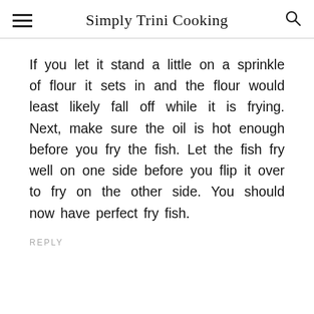Simply Trini Cooking
If you let it stand a little on a sprinkle of flour it sets in and the flour would least likely fall off while it is frying. Next, make sure the oil is hot enough before you fry the fish. Let the fish fry well on one side before you flip it over to fry on the other side. You should now have perfect fry fish.
REPLY